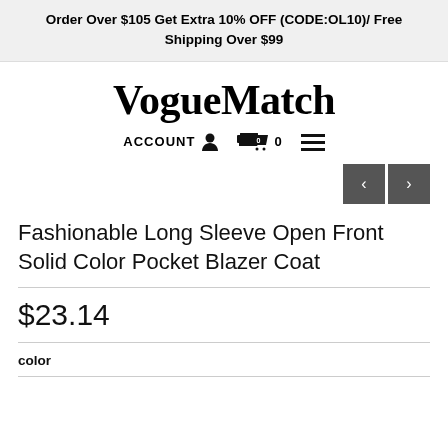Order Over $105 Get Extra 10% OFF (CODE:OL10)/ Free Shipping Over $99
VogueMatch
ACCOUNT  🧑  🛒 0  ☰
[Figure (other): Previous and next navigation arrow buttons]
Fashionable Long Sleeve Open Front Solid Color Pocket Blazer Coat
$23.14
color